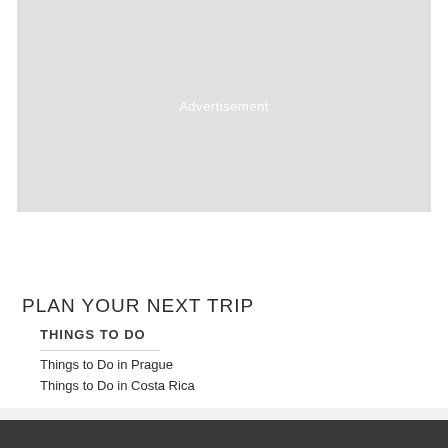[Figure (other): Advertisement placeholder box with light gray background and the word 'Advertisement' centered in light text]
PLAN YOUR NEXT TRIP
THINGS TO DO
Things to Do in Prague
Things to Do in Costa Rica